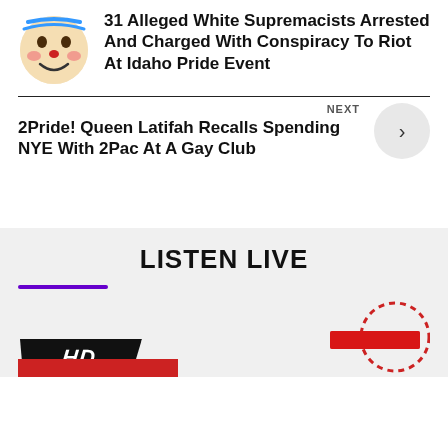31 Alleged White Supremacists Arrested And Charged With Conspiracy To Riot At Idaho Pride Event
2Pride! Queen Latifah Recalls Spending NYE With 2Pac At A Gay Club
LISTEN LIVE